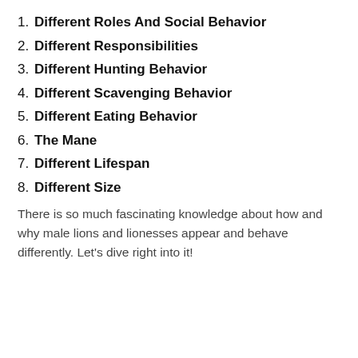1. Different Roles And Social Behavior
2. Different Responsibilities
3. Different Hunting Behavior
4. Different Scavenging Behavior
5. Different Eating Behavior
6. The Mane
7. Different Lifespan
8. Different Size
There is so much fascinating knowledge about how and why male lions and lionesses appear and behave differently. Let's dive right into it!